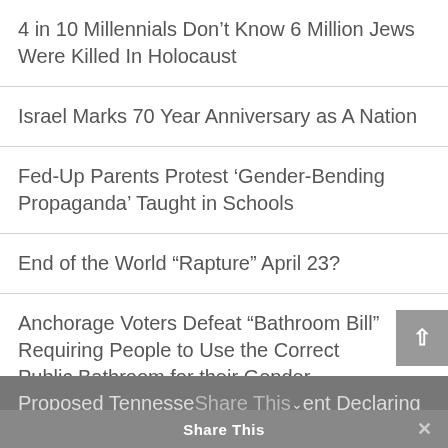4 in 10 Millennials Don’t Know 6 Million Jews Were Killed In Holocaust
Israel Marks 70 Year Anniversary as A Nation
Fed-Up Parents Protest ‘Gender-Bending Propaganda’ Taught in Schools
End of the World “Rapture” April 23?
Anchorage Voters Defeat “Bathroom Bill” Requiring People to Use the Correct Public Bathroom for their Gender
Censorship on Social Media
Proposed Tennessee Amendment Declaring God as Source of Liberty to Advance in Senate